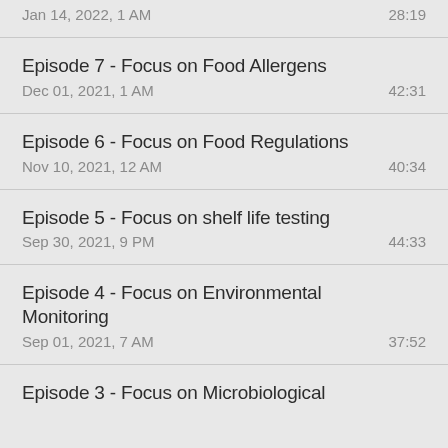Jan 14, 2022, 1 AM | 28:19
Episode 7 - Focus on Food Allergens
Dec 01, 2021, 1 AM | 42:31
Episode 6 - Focus on Food Regulations
Nov 10, 2021, 12 AM | 40:34
Episode 5 - Focus on shelf life testing
Sep 30, 2021, 9 PM | 44:33
Episode 4 - Focus on Environmental Monitoring
Sep 01, 2021, 7 AM | 37:52
Episode 3 - Focus on Microbiological